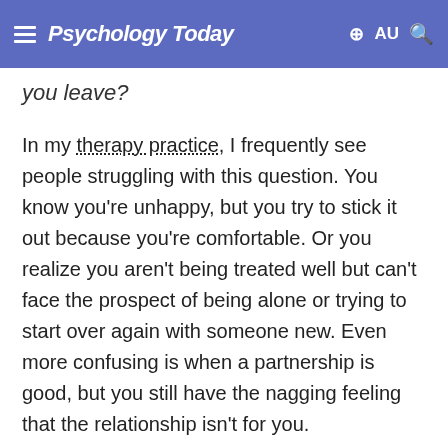Psychology Today — ⊕ AU 🔍
you leave?
In my therapy practice, I frequently see people struggling with this question. You know you're unhappy, but you try to stick it out because you're comfortable. Or you realize you aren't being treated well but can't face the prospect of being alone or trying to start over again with someone new. Even more confusing is when a partnership is good, but you still have the nagging feeling that the relationship isn't for you.
Finding solutions to difficult problems requires asking difficult questions. Here are some questions to...